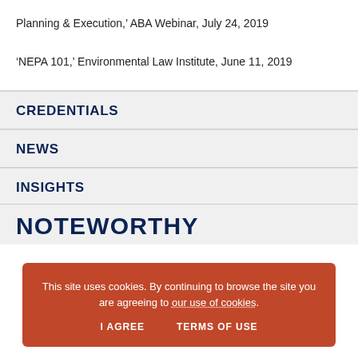Planning & Execution,' ABA Webinar, July 24, 2019
'NEPA 101,' Environmental Law Institute, June 11, 2019
CREDENTIALS
NEWS
INSIGHTS
NOTEWORTHY
This site uses cookies. By continuing to browse the site you are agreeing to our use of cookies.
I AGREE
TERMS OF USE